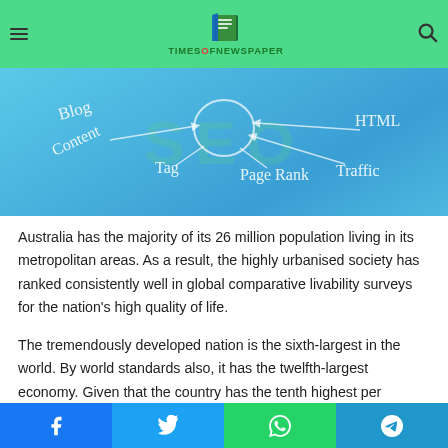TIMESOFNEWSPAPER
[Figure (photo): Blue background with handwritten SEO-related words: Blog, Content, Tag, Page Rank, Traffic, HTML, with arrow diagrams. Background has faint green SEO text.]
Australia has the majority of its 26 million population living in its metropolitan areas. As a result, the highly urbanised society has ranked consistently well in global comparative livability surveys for the nation's high quality of life.
The tremendously developed nation is the sixth-largest in the world. By world standards also, it has the twelfth-largest economy. Given that the country has the tenth highest per
Facebook | Twitter | WhatsApp | Telegram